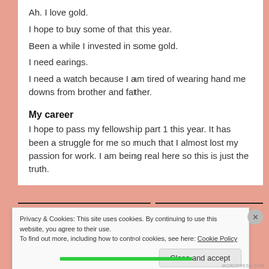Ah. I love gold.
I hope to buy some of that this year.
Been a while I invested in some gold.
I need earings.
I need a watch because I am tired of wearing hand me downs from brother and father.
My career
I hope to pass my fellowship part 1 this year. It has been a struggle for me so much that I almost lost my passion for work. I am being real here so this is just the truth.
Privacy & Cookies: This site uses cookies. By continuing to use this website, you agree to their use.
To find out more, including how to control cookies, see here: Cookie Policy
Close and accept